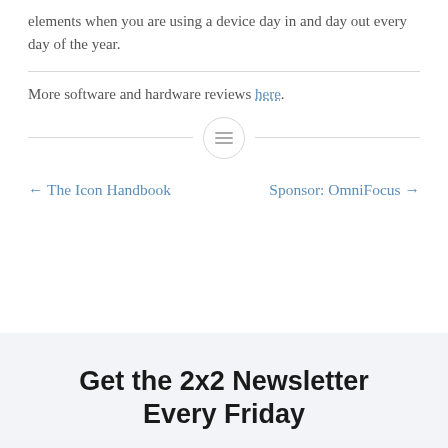elements when you are using a device day in and day out every day of the year.
More software and hardware reviews here.
← The Icon Handbook
Sponsor: OmniFocus →
Get the 2x2 Newsletter Every Friday